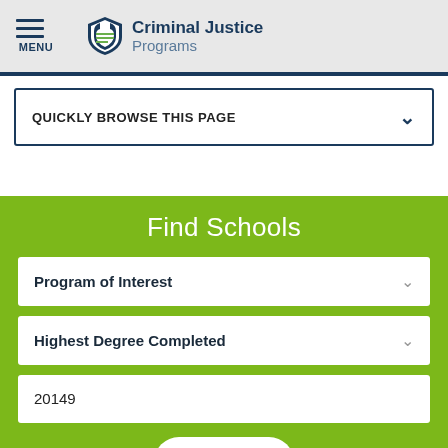MENU | Criminal Justice Programs
QUICKLY BROWSE THIS PAGE
Find Schools
Program of Interest
Highest Degree Completed
20149
GO